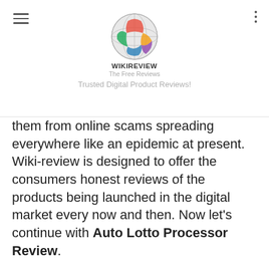WIKIREVIEW The Free Reviews — Trusted Digital Product Reviews!
them from online scams spreading everywhere like an epidemic at present. Wiki-review is designed to offer the consumers honest reviews of the products being launched in the digital market every now and then. Now let's continue with Auto Lotto Processor Review.
Rating: 5.6 out of 10 based on 20 ratings
Official Website: CLICK HERE